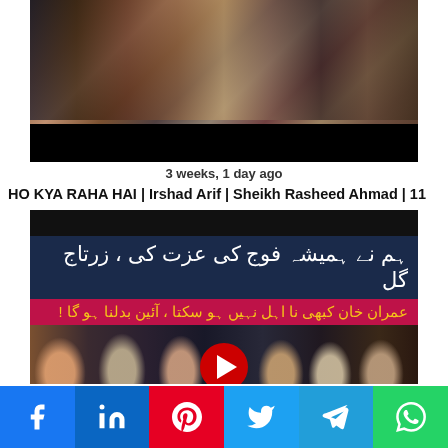[Figure (photo): Video thumbnail showing three men at a public event, one speaking at a microphone, with a black bar at the bottom]
3 weeks, 1 day ago
HO KYA RAHA HAI | Irshad Arif | Sheikh Rasheed Ahmad | 11
[Figure (screenshot): YouTube video thumbnail with Urdu text banners: top blue banner reads Urdu text about military respect, pink banner below with Urdu text about Imran Khan, faces of various political and military figures at bottom, red YouTube play button in center]
Facebook | LinkedIn | Pinterest | Twitter | Telegram | WhatsApp social share buttons